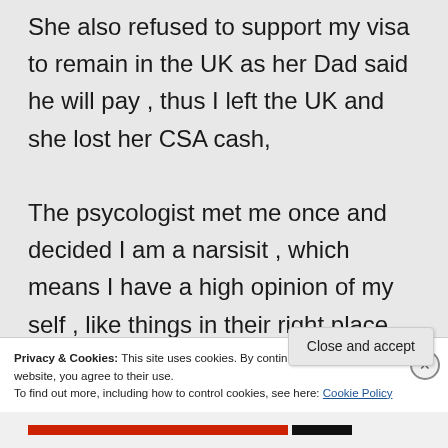She also refused to support my visa to remain in the UK as her Dad said he will pay , thus I left the UK and she lost her CSA cash,

The psycologist met me once and decided I am a narsisit , which means I have a high opinion of my self , like things in their right place and to control people , where in fact I was the one that was never allowed to...
Privacy & Cookies: This site uses cookies. By continuing to use this website, you agree to their use.
To find out more, including how to control cookies, see here: Cookie Policy